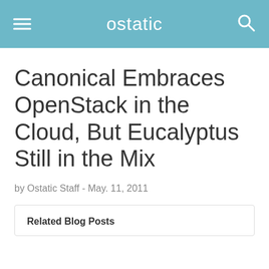ostatic
Canonical Embraces OpenStack in the Cloud, But Eucalyptus Still in the Mix
by Ostatic Staff - May. 11, 2011
Related Blog Posts